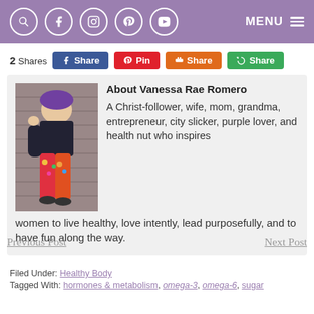MENU [social icons: search, facebook, instagram, pinterest, youtube]
2 Shares   Share   Pin   Share   Share
[Figure (photo): Photo of Vanessa Rae Romero, a woman with a purple hat sitting in front of a brick wall, wearing a floral outfit.]
About Vanessa Rae Romero
A Christ-follower, wife, mom, grandma, entrepreneur, city slicker, purple lover, and health nut who inspires women to live healthy, love intently, lead purposefully, and to have fun along the way.
Previous Post    Next Post
Filed Under: Healthy Body
Tagged With: hormones & metabolism, omega-3, omega-6, sugar